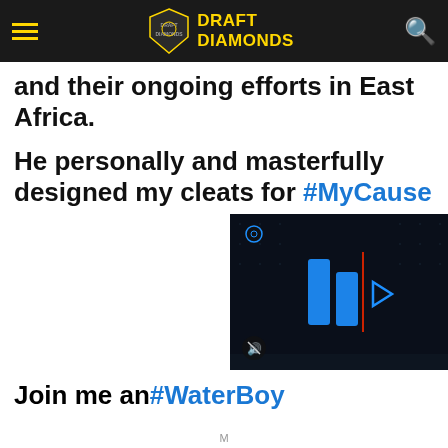DRAFT DIAMONDS
and their ongoing efforts in East Africa.
He personally and masterfully designed my cleats for #MyCause
[Figure (screenshot): Dark video player thumbnail with blue geometric logo/play button icons and mute icon]
Join me and #WaterBoy